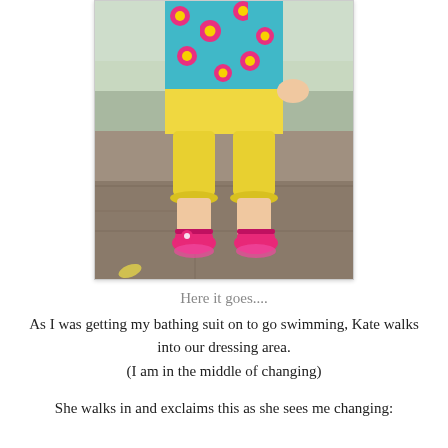[Figure (photo): A young girl sitting on a stone ledge, wearing a colorful floral dress with yellow capri pants and bright pink sandals.]
Here it goes....
As I was getting my bathing suit on to go swimming, Kate walks into our dressing area.
(I am in the middle of changing)
She walks in and exclaims this as she sees me changing: